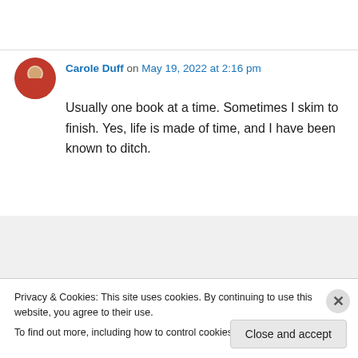Carole Duff on May 19, 2022 at 2:16 pm
Usually one book at a time. Sometimes I skim to finish. Yes, life is made of time, and I have been known to ditch.
Ellen Shriner on May 19, 2022 at 5:37 pm
Privacy & Cookies: This site uses cookies. By continuing to use this website, you agree to their use.
To find out more, including how to control cookies, see here: Cookie Policy
Close and accept